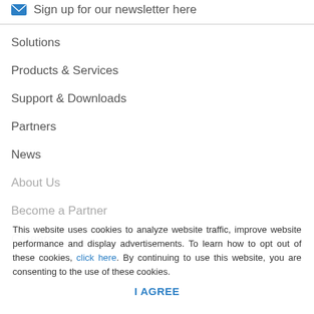Sign up for our newsletter here
Solutions
Products & Services
Support & Downloads
Partners
News
About Us
Become a Partner
Careers
This website uses cookies to analyze website traffic, improve website performance and display advertisements. To learn how to opt out of these cookies, click here. By continuing to use this website, you are consenting to the use of these cookies.
I AGREE